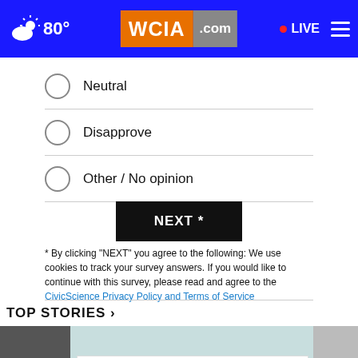80° WCIA.com • LIVE
Neutral
Disapprove
Other / No opinion
NEXT *
* By clicking "NEXT" you agree to the following: We use cookies to track your survey answers. If you would like to continue with this survey, please read and agree to the CivicScience Privacy Policy and Terms of Service
TOP STORIES ›
[Figure (screenshot): Video thumbnail with play button and story image, with Frávega advertisement overlay showing 'Frávega Como La Familia' with ABRIR button]